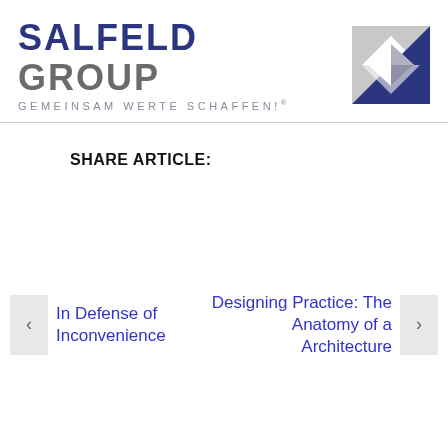[Figure (logo): Salfeld Group logo with geometric icon in blue, grey and white]
SHARE ARTICLE:
In Defense of Inconvenience
Designing Practice: The Anatomy of a Architecture